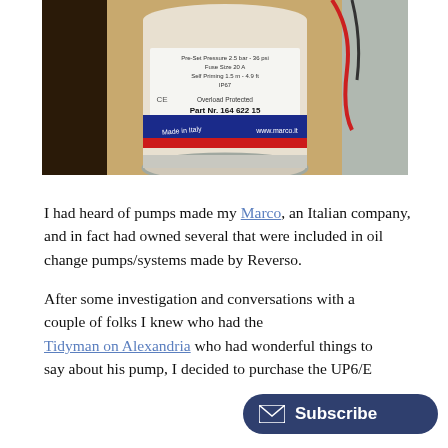[Figure (photo): Close-up photo of a white cylindrical pump with a label reading 'Part Nr. 164 622 15', 'Overload Protected', 'Made in Italy', and website 'www.marco.it'. The pump has a blue and red stripe label. Background shows cardboard and red wiring.]
I had heard of pumps made my Marco, an Italian company, and in fact had owned several that were included in oil change pumps/systems made by Reverso.
After some investigation and conversations with a couple of folks I knew who had the... Tidyman on Alexandria who had wonderful things to say about his pump, I decided to purchase the UP6/E